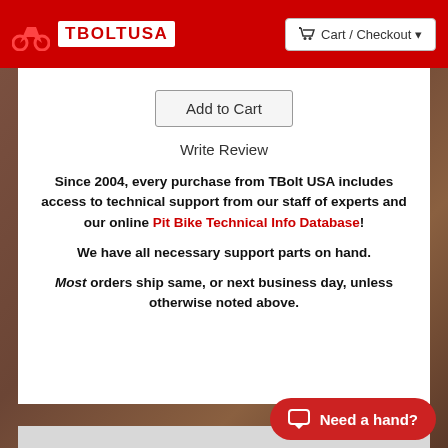TBoltUSA — Cart / Checkout
Add to Cart
Write Review
Since 2004, every purchase from TBolt USA includes access to technical support from our staff of experts and our online Pit Bike Technical Info Database!
We have all necessary support parts on hand.
Most orders ship same, or next business day, unless otherwise noted above.
Need a hand?